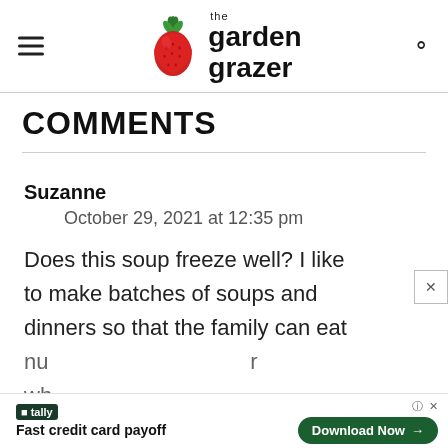the garden grazer
COMMENTS
Suzanne
October 29, 2021 at 12:35 pm
Does this soup freeze well? I like to make batches of soups and dinners so that the family can eat
[Figure (other): Advertisement banner: Tally app - Fast credit card payoff, Download Now button]